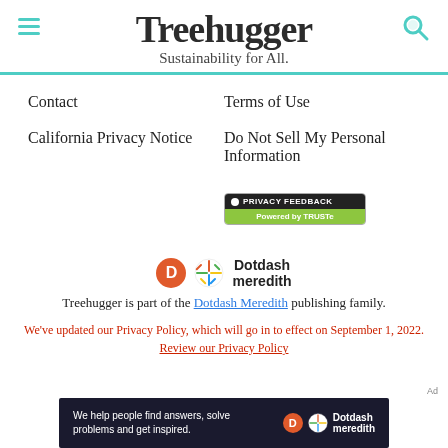Treehugger — Sustainability for All.
Contact
Terms of Use
California Privacy Notice
Do Not Sell My Personal Information
[Figure (logo): Privacy Feedback badge powered by TRUSTe]
[Figure (logo): Dotdash Meredith logo]
Treehugger is part of the Dotdash Meredith publishing family.
We've updated our Privacy Policy, which will go in to effect on September 1, 2022. Review our Privacy Policy
[Figure (photo): Dotdash Meredith advertisement banner: We help people find answers, solve problems and get inspired.]